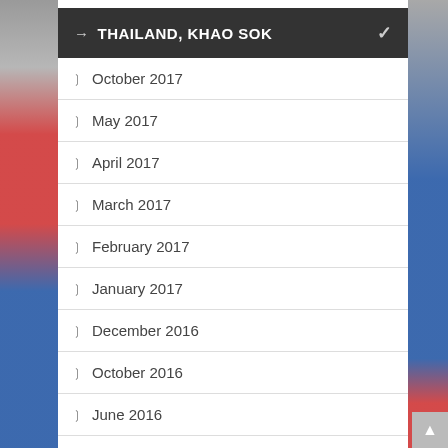→ THAILAND, KHAO SOK
October 2017
May 2017
April 2017
March 2017
February 2017
January 2017
December 2016
October 2016
June 2016
April 2016
October 2015
July 2015
May 2015